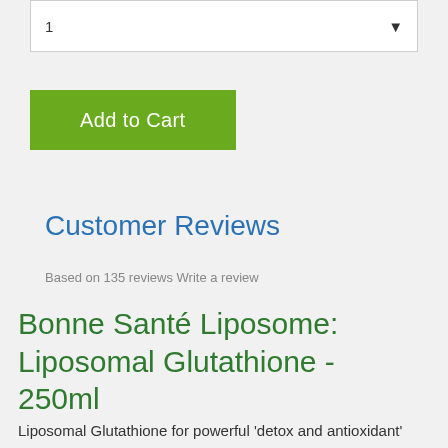[Figure (screenshot): Dropdown selector showing value '1' with a downward arrow on the right side]
[Figure (screenshot): Green 'Add to Cart' button]
Customer Reviews
Based on 135 reviews Write a review
Bonne Santé Liposome: Liposomal Glutathione - 250ml
Liposomal Glutathione for powerful 'detox and antioxidant'